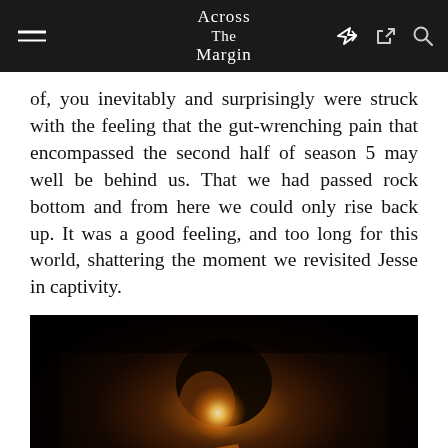Across The Margin
of, you inevitably and surprisingly were struck with the feeling that the gut-wrenching pain that encompassed the second half of season 5 may well be behind us. That we had passed rock bottom and from here we could only rise back up. It was a good feeling, and too long for this world, shattering the moment we revisited Jesse in captivity.
[Figure (photo): Dark cinematic photo of a person (man) lit from below/center by a warm orange-golden light source, likely a flame or lit object, bowing their head close to it. The background is very dark. A thin stick or rod is visible in the lower portion of the frame.]